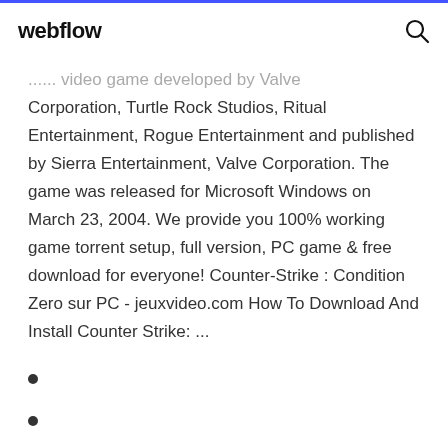webflow
...... video game developed by Valve Corporation, Turtle Rock Studios, Ritual Entertainment, Rogue Entertainment and published by Sierra Entertainment, Valve Corporation. The game was released for Microsoft Windows on March 23, 2004. We provide you 100% working game torrent setup, full version, PC game & free download for everyone! Counter-Strike : Condition Zero sur PC - jeuxvideo.com How To Download And Install Counter Strike: ...